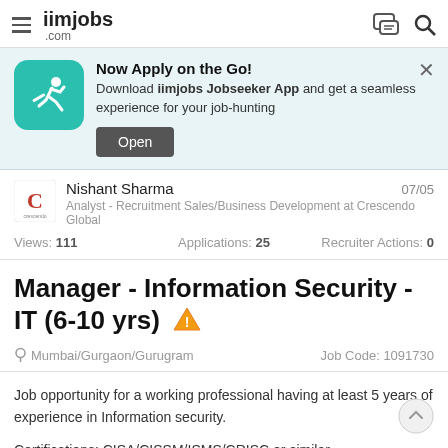iimjobs .com
[Figure (infographic): App download banner: teal icon with running person, text 'Now Apply on the Go! Download iimjobs Jobseeker App and get a seamless experience for your job-hunting', Open button]
Nishant Sharma  07/05
Analyst - Recruitment Sales/Business Development at Crescendo Global
Views: 111   Applications: 25   Recruiter Actions: 0
Manager - Information Security - IT (6-10 yrs)
Mumbai/Gurgaon/Gurugram   Job Code: 1091730
Job opportunity for a working professional having at least 5 years of experience in Information security.
Certifications: CISA/CISSM/ISMS/CRISC or similar.